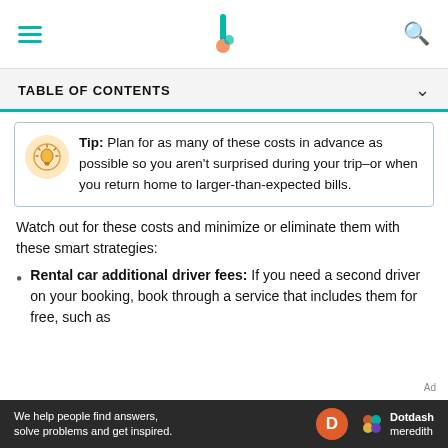TABLE OF CONTENTS
Tip: Plan for as many of these costs in advance as possible so you aren't surprised during your trip–or when you return home to larger-than-expected bills.
Watch out for these costs and minimize or eliminate them with these smart strategies:
Rental car additional driver fees: If you need a second driver on your booking, book through a service that includes them for free, such as
We help people find answers, solve problems and get inspired. Dotdash meredith